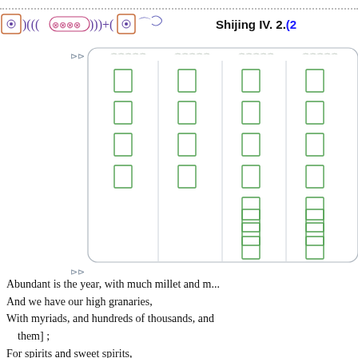Shijing IV. 2. (2...
[Figure (other): Grid of Chinese characters in green boxes arranged in columns within a bordered table with decorative header elements, representing a classical Chinese text layout]
Abundant is the year, with much millet and m...
And we have our high granaries,
With myriads, and hundreds of thousands, and [them] ;
For spirits and sweet spirits,
To present to our ancestors, male and female,